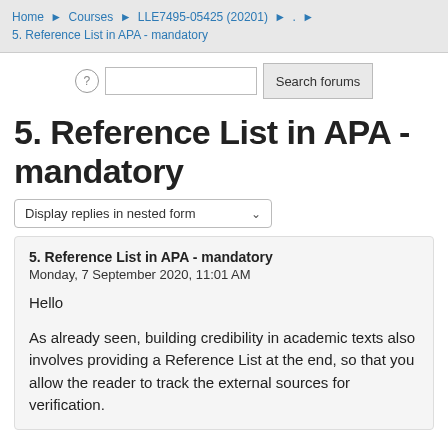Home ▶ Courses ▶ LLE7495-05425 (20201) ▶ . ▶ 5. Reference List in APA - mandatory
[Figure (screenshot): Search bar area with help icon, text input field, and Search forums button]
5. Reference List in APA - mandatory
Display replies in nested form
5. Reference List in APA - mandatory
Monday, 7 September 2020, 11:01 AM

Hello

As already seen, building credibility in academic texts also involves providing a Reference List at the end, so that you allow the reader to track the external sources for verification.